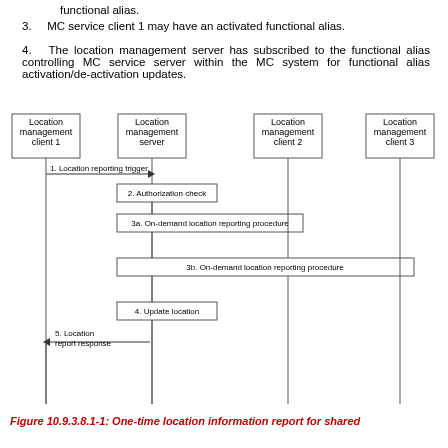functional alias.
3.  MC service client 1 may have an activated functional alias.
4.  The location management server has subscribed to the functional alias controlling MC service server within the MC system for functional alias activation/de-activation updates.
[Figure (flowchart): Sequence diagram showing one-time location information report for shared location. Shows Location management client 1, Location management server, Location management client 2, Location management client 3. Steps: 1. Location reporting trigger (client1 to server), 2. Authorization check (server), 3a. On-demand location reporting procedure (server to client2), 3b. On-demand location reporting procedure (server to client3), 4. Update location (server), 5. Location report response (server to client1).]
Figure 10.9.3.8.1-1: One-time location information report for shared